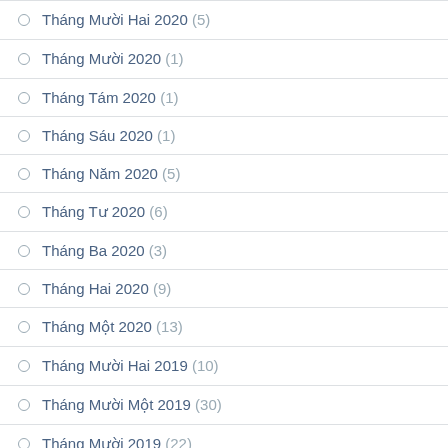Tháng Mười Hai 2020 (5)
Tháng Mười 2020 (1)
Tháng Tám 2020 (1)
Tháng Sáu 2020 (1)
Tháng Năm 2020 (5)
Tháng Tư 2020 (6)
Tháng Ba 2020 (3)
Tháng Hai 2020 (9)
Tháng Một 2020 (13)
Tháng Mười Hai 2019 (10)
Tháng Mười Một 2019 (30)
Tháng Mười 2019 (22)
Tháng Chín 2019 (3)